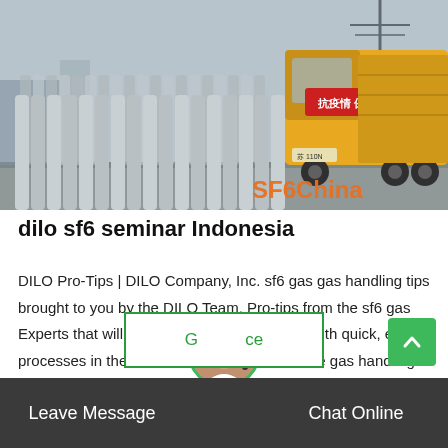[Figure (photo): Photo of rows of gray SF6 gas cylinders on a road with a yellow truck in background, watermark 'SF6China' in orange]
dilo sf6 seminar Indonesia
DILO Pro-Tips | DILO Company, Inc. sf6 gas gas handling tips brought to you by the DILO Team. Pro-tips from the sf6 gas Experts that will help users become familiar with quick, easy processes in the field during Sulfr hexafluoride gas handling and …
Leave Message   Chat Online